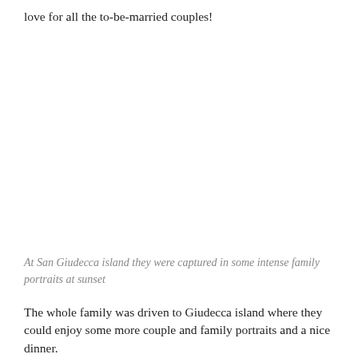love for all the to-be-married couples!
At San Giudecca island they were captured in some intense family portraits at sunset
The whole family was driven to Giudecca island where they could enjoy some more couple and family portraits and a nice dinner.